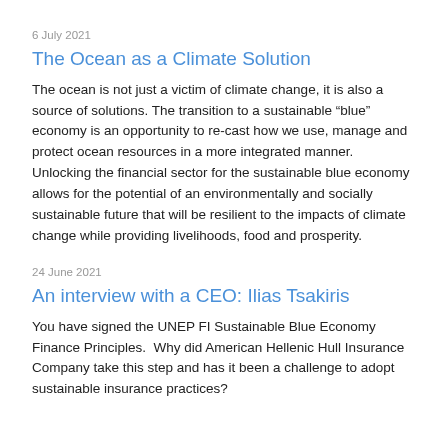6 July 2021
The Ocean as a Climate Solution
The ocean is not just a victim of climate change, it is also a source of solutions. The transition to a sustainable “blue” economy is an opportunity to re-cast how we use, manage and protect ocean resources in a more integrated manner. Unlocking the financial sector for the sustainable blue economy allows for the potential of an environmentally and socially sustainable future that will be resilient to the impacts of climate change while providing livelihoods, food and prosperity.
24 June 2021
An interview with a CEO: Ilias Tsakiris
You have signed the UNEP FI Sustainable Blue Economy Finance Principles.  Why did American Hellenic Hull Insurance Company take this step and has it been a challenge to adopt sustainable insurance practices?